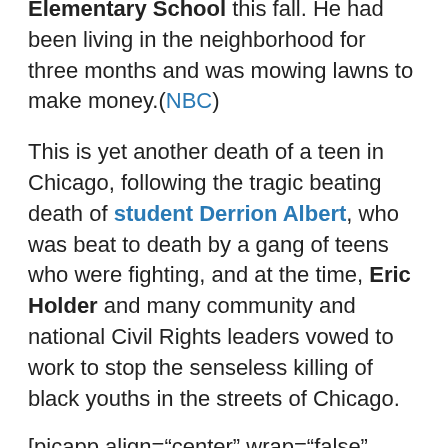Elementary School this fall. He had been living in the neighborhood for three months and was mowing lawns to make money.(NBC)
This is yet another death of a teen in Chicago, following the tragic beating death of student Derrion Albert, who was beat to death by a gang of teens who were fighting, and at the time, Eric Holder and many community and national Civil Rights leaders vowed to work to stop the senseless killing of black youths in the streets of Chicago.
[picapp align="center" wrap="false" link="term=derrion+albert&iid=6743708" src="http://view3.picapp.com/pictures.photo/image/6743708/jesse-jackson-meets-with/jesse-jackson-meets-with.jpg?size=500&imageId=6743708&#8243; width="234" height="156" /]